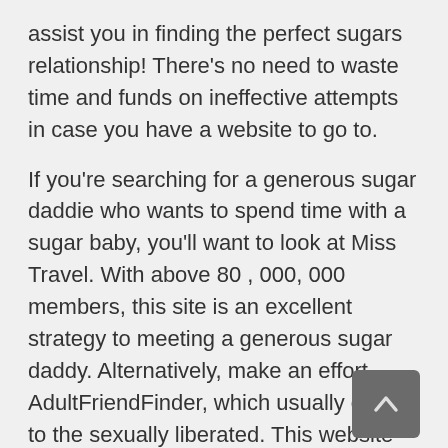assist you in finding the perfect sugars relationship! There's no need to waste time and funds on ineffective attempts in case you have a website to go to.
If you're searching for a generous sugar daddie who wants to spend time with a sugar baby, you'll want to look at Miss Travel. With above 80 , 000, 000 members, this site is an excellent strategy to meeting a generous sugar daddy. Alternatively, make an effort AdultFriendFinder, which usually caters to the sexually liberated. This website accepts BDSM and other making love arrangements. Sign up to these sites by supplying a few details about yourself and your preferences.
Elite Singles feels like an elite sugar dating